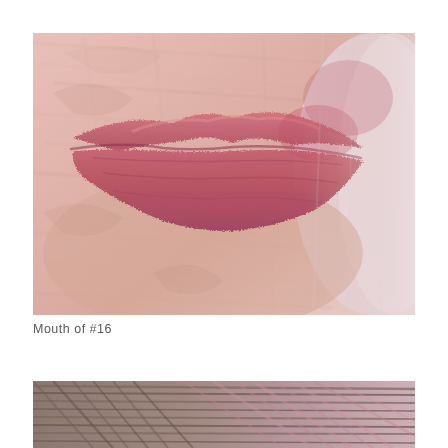[Figure (illustration): Close-up painterly illustration of lips (mouth) with pink and rose tones, textured brushstroke style, showing upper and lower lips with detailed skin texture. Partial pale background on right side.]
Mouth of #16
[Figure (illustration): Partial close-up painterly illustration showing hair strands in brown and pink tones, textured brushstroke style — partially visible at bottom of page.]